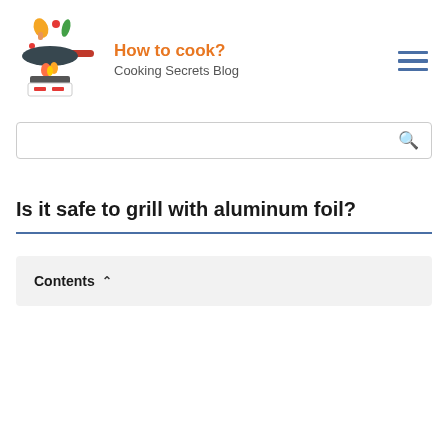How to cook? Cooking Secrets Blog
[Figure (logo): Cooking blog logo: frying pan with vegetables and flame on a stove]
Is it safe to grill with aluminum foil?
Contents